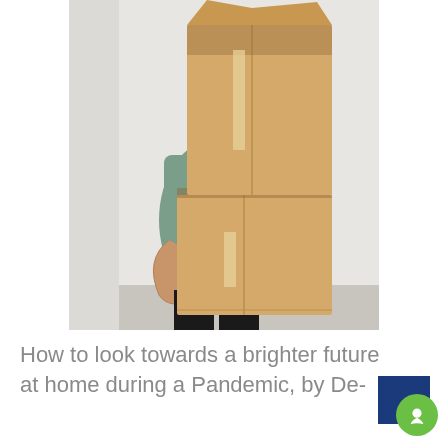[Figure (photo): A person in a green t-shirt carrying two large stacked cardboard moving boxes in front of a light grey wall]
How to look towards a brighter future at home during a Pandemic, by De-